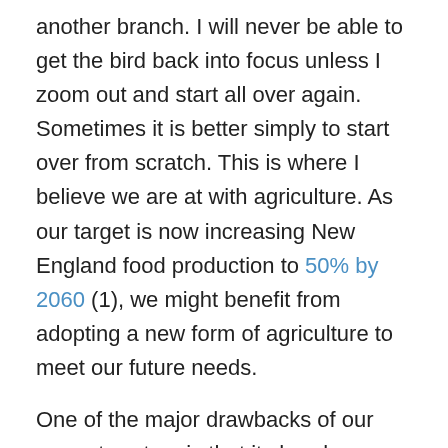another branch. I will never be able to get the bird back into focus unless I zoom out and start all over again. Sometimes it is better simply to start over from scratch. This is where I believe we are at with agriculture. As our target is now increasing New England food production to 50% by 2060 (1), we might benefit from adopting a new form of agriculture to meet our future needs.
One of the major drawbacks of our current system is that it sharply contrasts with nature's desires, especially here in New England. We have to fight to grow our food, and nature is a persistent opponent. Getting to 50% will be a battle, but it doesn't have to be accomplished at the expense of the environment. I believe that if we work with nature, we can overcome some of the physical constraints that we face when growing food. The next few paragraphs